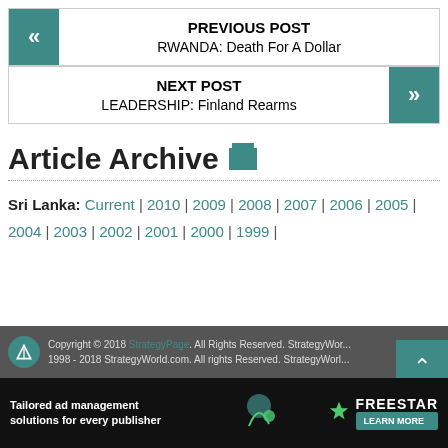PREVIOUS POST
RWANDA: Death For A Dollar
NEXT POST
LEADERSHIP: Finland Rearms
Article Archive
Sri Lanka: Current | 2010 | 2009 | 2008 | 2007 | 2006 | 2005 | 2004 | 2003 | 2002 | 2001 | 2000 | 1999 |
Copyright © 2018 StrategyPage. All Rights Reserved. StrategyWorld.com. 1998 - 2018 StrategyWorld.com. All rights Reserved. StrategyWorld.com
[Figure (infographic): Freestar tailored ad management solutions advertisement banner]